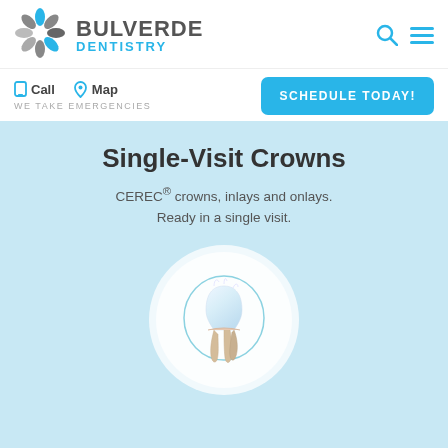[Figure (logo): Bulverde Dentistry logo with spinning snowflake-style icon in gray and blue, company name BULVERDE in gray bold caps, DENTISTRY in blue caps below]
Call   Map   WE TAKE EMERGENCIES
SCHEDULE TODAY!
Single-Visit Crowns
CEREC® crowns, inlays and onlays. Ready in a single visit.
[Figure (illustration): Illustration of a dental tooth crown with roots inside a white circle on light blue background]
LEARN MORE